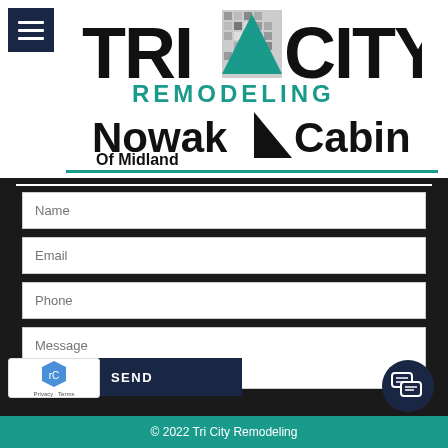[Figure (logo): Tri City Remodeling logo with triangle and pixelated center, teal REMODELING text below]
[Figure (logo): Nowak Cabinets of Midland logo with black triangle arrow]
Name
Email
Phone
Message
SEND
© 2022 Tri City Remodeling